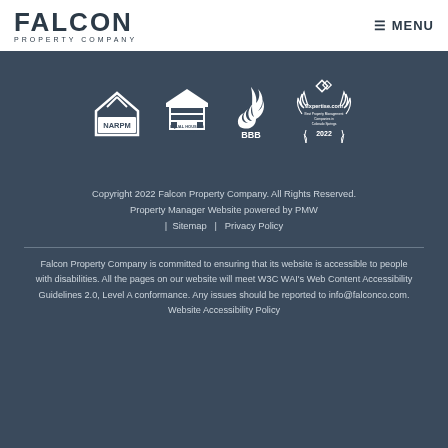FALCON PROPERTY COMPANY | MENU
[Figure (logo): Row of certification/accreditation logos: NARPM, Equal Housing Opportunity, BBB (Better Business Bureau), Expertise.com Best Property Management Companies in Colorado Springs 2022]
Copyright 2022 Falcon Property Company. All Rights Reserved.
Property Manager Website powered by PMW
| Sitemap | Privacy Policy
Falcon Property Company is committed to ensuring that its website is accessible to people with disabilities. All the pages on our website will meet W3C WAI's Web Content Accessibility Guidelines 2.0, Level A conformance. Any issues should be reported to info@falconco.com. Website Accessibility Policy